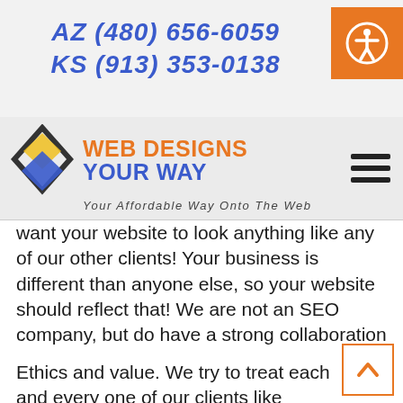AZ (480) 656-6059
KS (913) 353-0138
[Figure (logo): Web Designs Your Way logo with diamond icon, orange and blue text, tagline: Your Affordable Way Onto The Web]
want your website to look anything like any of our other clients! Your business is different than anyone else, so your website should reflect that! We are not an SEO company, but do have a strong collaboration with one. We have learned how to build you r website so that an SEO company can just pick up and go and not charge you extra to add in a bunch of things they need to do their job right. We were actually really surprised when we found out what others leave out that we include!
Ethics and value. We try to treat each and every one of our clients like family. In fact